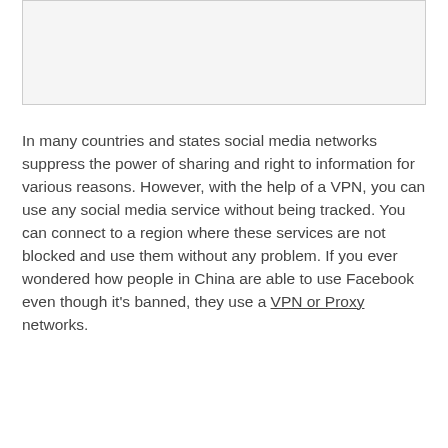[Figure (other): Image placeholder area (blank/white image region)]
In many countries and states social media networks suppress the power of sharing and right to information for various reasons. However, with the help of a VPN, you can use any social media service without being tracked. You can connect to a region where these services are not blocked and use them without any problem. If you ever wondered how people in China are able to use Facebook even though it's banned, they use a VPN or Proxy networks.